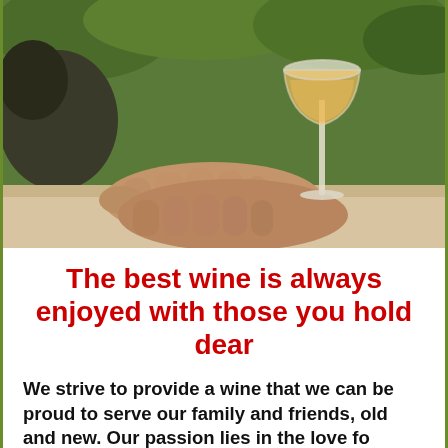[Figure (photo): Close-up photo of two aged hands clasped together resting on a light wooden table, with a glass of white/rosé wine in the background and green foliage/animals visible. Outdoor setting suggesting a winery or farm.]
The best wine is always enjoyed with those you hold dear
We strive to provide a wine that we can be proud to serve our family and friends, old and new. Our passion lies in the love fo...